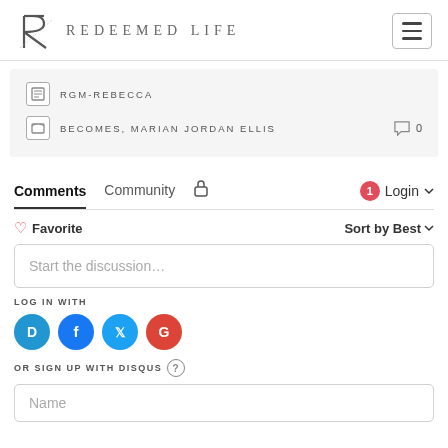REDEEMED LIFE
RGM-REBECCA
BECOMES, MARIAN JORDAN ELLIS  0
Comments  Community  Login
Favorite  Sort by Best
Start the discussion…
LOG IN WITH
OR SIGN UP WITH DISQUS
Name